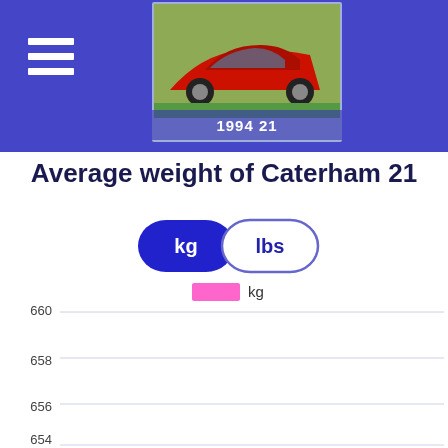[Figure (photo): Red sports car (Caterham 21, 1994) on green grass, shown in a blue header banner with hamburger menu icon. Label reads '1994 21'.]
Average weight of Caterham 21
[Figure (other): Toggle buttons: 'kg' (filled blue/active) and 'lbs' (outlined). Legend showing pink rectangle labeled 'kg'. Line chart with y-axis showing values 654, 656, 658, 660 and horizontal gridlines; no data bars visible in the cropped view.]